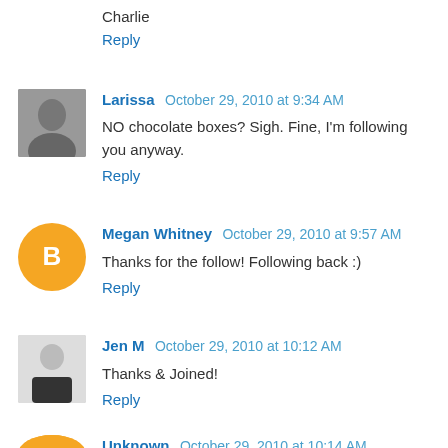Charlie
Reply
Larissa  October 29, 2010 at 9:34 AM
NO chocolate boxes? Sigh. Fine, I'm following you anyway.
Reply
Megan Whitney  October 29, 2010 at 9:57 AM
Thanks for the follow! Following back :)
Reply
Jen M  October 29, 2010 at 10:12 AM
Thanks & Joined!
Reply
Unknown  October 29, 2010 at 10:14 AM